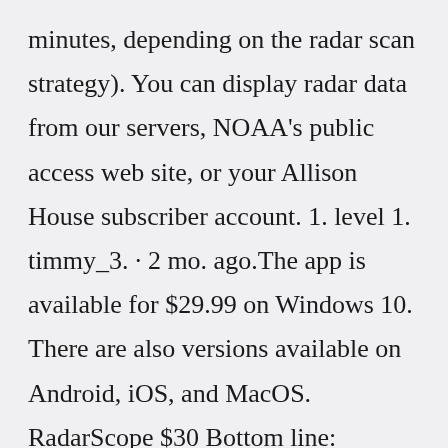minutes, depending on the radar scan strategy). You can display radar data from our servers, NOAA's public access web site, or your Allison House subscriber account. 1. level 1. timmy_3. · 2 mo. ago.The app is available for $29.99 on Windows 10. There are also versions available on Android, iOS, and MacOS. RadarScope $30 Bottom line: RadarScope is a detailed weather map for enthusiasts and...The Android operating